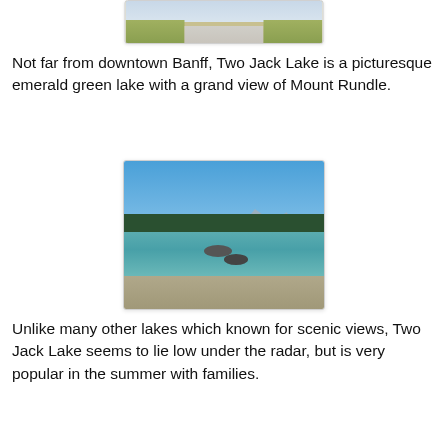[Figure (photo): Partial view of a road with grass on either side, appears to be a landscape photo cropped at the top of the page.]
Not far from downtown Banff, Two Jack Lake is a picturesque emerald green lake with a grand view of Mount Rundle.
[Figure (photo): Two Jack Lake with clear turquoise water, two rocks visible in the shallow water, a forested hillside and mountains in the background under a clear blue sky.]
Unlike many other lakes which known for scenic views, Two Jack Lake seems to lie low under the radar, but is very popular in the summer with families.